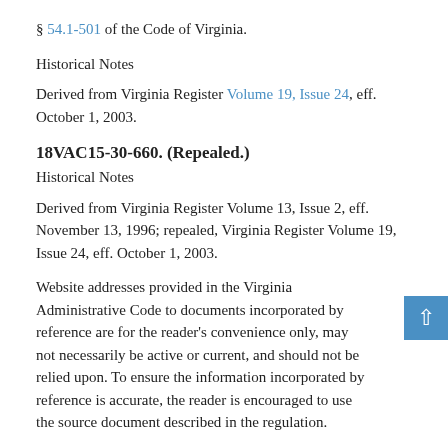§ 54.1-501 of the Code of Virginia.
Historical Notes
Derived from Virginia Register Volume 19, Issue 24, eff. October 1, 2003.
18VAC15-30-660. (Repealed.)
Historical Notes
Derived from Virginia Register Volume 13, Issue 2, eff. November 13, 1996; repealed, Virginia Register Volume 19, Issue 24, eff. October 1, 2003.
Website addresses provided in the Virginia Administrative Code to documents incorporated by reference are for the reader's convenience only, may not necessarily be active or current, and should not be relied upon. To ensure the information incorporated by reference is accurate, the reader is encouraged to use the source document described in the regulation.
As a service to the public, the Virginia Administrative Code is provided online by the Virginia General Assembly. We are unable to answer legal questions or respond to requests for legal advice, including application of law to specific fact. To understand and protect